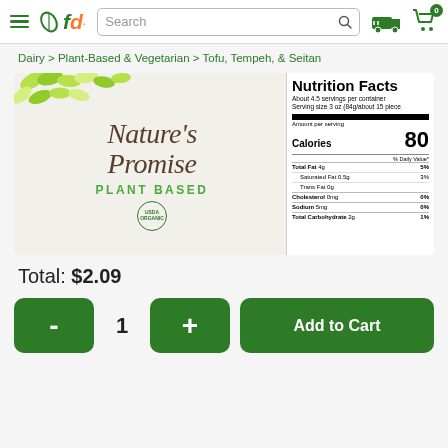fd Search [search icon] [truck icon] [cart 0]
Dairy > Plant-Based & Vegetarian > Tofu, Tempeh, & Seitan
[Figure (photo): Nature's Promise Plant Based tofu product with nutrition facts label showing: About 4.5 servings per container, Serving size 3 oz (84g/about 15 pieces), Calories 80, Total Fat 4g 5%, Saturated Fat 0.5g 3%, Trans Fat 0g, Cholesterol 0mg 0%, Sodium 5mg 0%, Total Carbohydrate 2g 1%]
Total: $2.09
- 1 + Add to Cart